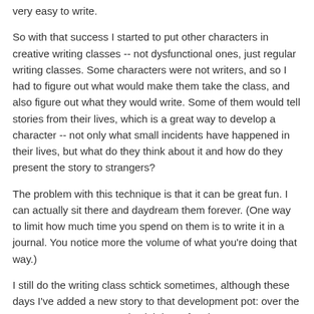very easy to write.
So with that success I started to put other characters in creative writing classes -- not dysfunctional ones, just regular writing classes. Some characters were not writers, and so I had to figure out what would make them take the class, and also figure out what they would write. Some of them would tell stories from their lives, which is a great way to develop a character -- not only what small incidents have happened in their lives, but what do they think about it and how do they present the story to strangers?
The problem with this technique is that it can be great fun. I can actually sit there and daydream them forever. (One way to limit how much time you spend on them is to write it in a journal. You notice more the volume of what you're doing that way.)
I still do the writing class schtick sometimes, although these days I've added a new story to that development pot: over the past ten years or so my day job has often become dysfunctional in an almost surreal way. So every now and